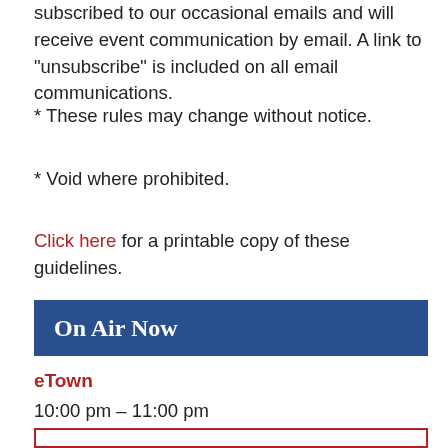subscribed to our occasional emails and will receive event communication by email. A link to "unsubscribe" is included on all email communications.
* These rules may change without notice.
* Void where prohibited.
Click here for a printable copy of these guidelines.
On Air Now
eTown
10:00 pm – 11:00 pm